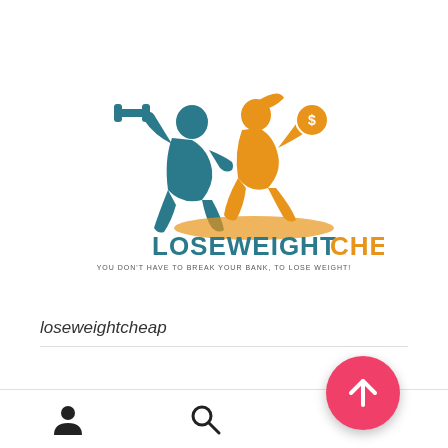[Figure (logo): LoseWeightCheap logo: teal male silhouette lifting dumbbell and orange female silhouette holding coin, with text LOSEWEIGHT in teal bold and CHEAP in orange bold, tagline YOU DON'T HAVE TO BREAK YOUR BANK, TO LOSE WEIGHT!]
loseweightcheap
[Figure (infographic): Bottom navigation bar with user icon, search icon, and pink floating action button with upward arrow]